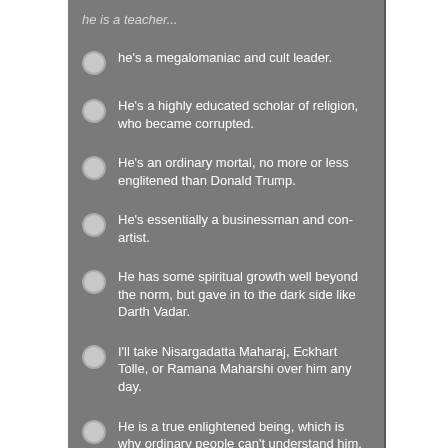he's a megalomaniac and cult leader.
He's a highly educated scholar of religion, who became corrupted.
He's an ordinary mortal, no more or less englitened than Donald Trump.
He's essentially a businessman and con-artist.
He has some spiritual growth well beyond the norm, but gave in to the dark side like Darth Vadar.
I'll take Nisargadatta Maharaj, Eckhart Tolle, or Ramana Maharshi over him any day.
He is a true enlightened being, which is why ordinary people can't understand him.